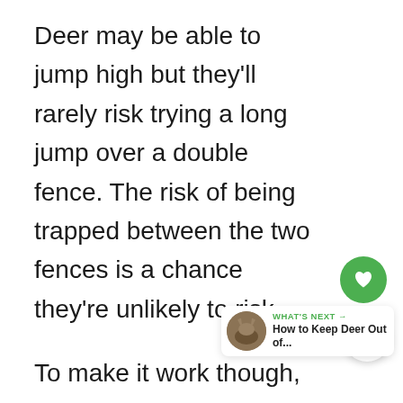Deer may be able to jump high but they'll rarely risk trying a long jump over a double fence. The risk of being trapped between the two fences is a chance they're unlikely to risk.
To make it work though, you need about 4 to 5 feet of space between the two fences.
Stockade fencing panels can be heights because deer don't jump over
[Figure (other): Green circular heart/favorite button]
[Figure (other): White circular share button with share icon]
[Figure (other): What's Next card showing 'How to Keep Deer Out of...' with thumbnail photo of deer]